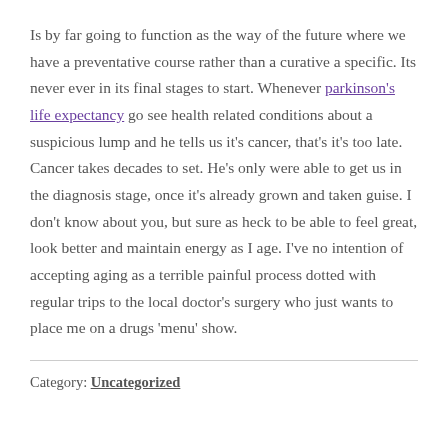Is by far going to function as the way of the future where we have a preventative course rather than a curative a specific. Its never ever in its final stages to start. Whenever parkinson's life expectancy go see health related conditions about a suspicious lump and he tells us it's cancer, that's it's too late. Cancer takes decades to set. He's only were able to get us in the diagnosis stage, once it's already grown and taken guise. I don't know about you, but sure as heck to be able to feel great, look better and maintain energy as I age. I've no intention of accepting aging as a terrible painful process dotted with regular trips to the local doctor's surgery who just wants to place me on a drugs 'menu' show.
Category: Uncategorized